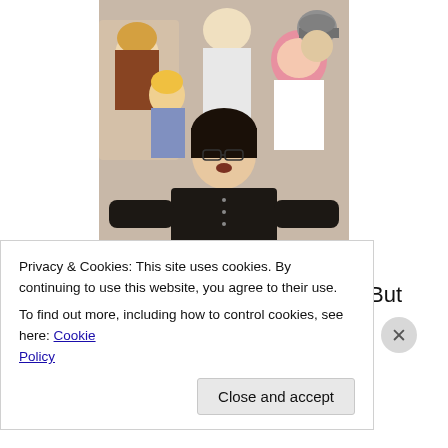[Figure (illustration): Anime illustration showing multiple characters, with a dark-haired male character in a black coat in the foreground looking serious, and several other characters behind him including a girl with pink hair.]
Pretty serious there, eh?
with his life, for it is the mermaid law. But clever little Sun
(partially visible, obscured by cookie banner)
Privacy & Cookies: This site uses cookies. By continuing to use this website, you agree to their use.
To find out more, including how to control cookies, see here: Cookie Policy
Close and accept